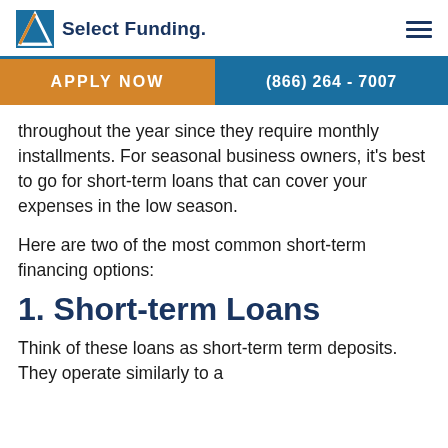Select Funding
APPLY NOW  (866) 264 - 7007
throughout the year since they require monthly installments. For seasonal business owners, it's best to go for short-term loans that can cover your expenses in the low season.
Here are two of the most common short-term financing options:
1. Short-term Loans
Think of these loans as short-term term deposits. They operate similarly to a